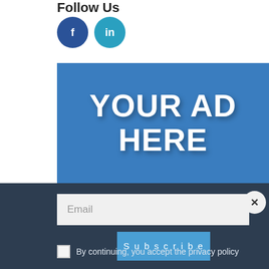Follow Us
[Figure (illustration): Two circular social media icons: Facebook (dark blue with 'f') and LinkedIn (teal with 'in')]
[Figure (infographic): Blue rectangular advertisement placeholder banner with large white bold text 'YOUR AD HERE']
Email
Subscribe
By continuing, you accept the privacy policy